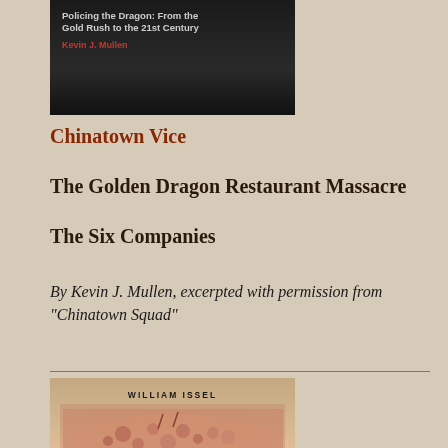[Figure (illustration): Book cover showing dark background with text 'Policing the Dragon: From the Gold Rush to the 21st Century' by Kevin J. Mullen in red text]
Chinatown Vice
The Golden Dragon Restaurant Massacre
The Six Companies
By Kevin J. Mullen, excerpted with permission from "Chinatown Squad"
[Figure (illustration): Book cover for 'Church and State in the City' by William Issel, showing a crowd scene in red-tinted photograph with the book title in decorative text at the bottom]